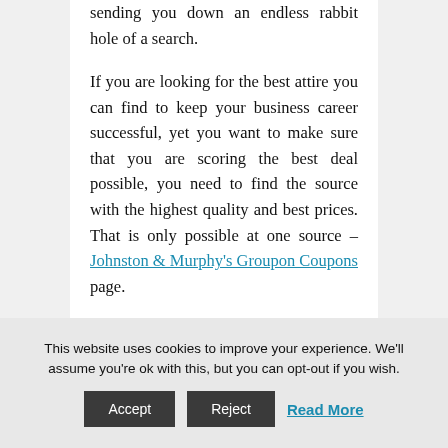sending you down an endless rabbit hole of a search.
If you are looking for the best attire you can find to keep your business career successful, yet you want to make sure that you are scoring the best deal possible, you need to find the source with the highest quality and best prices. That is only possible at one source – Johnston & Murphy's Groupon Coupons page.
This website uses cookies to improve your experience. We'll assume you're ok with this, but you can opt-out if you wish.